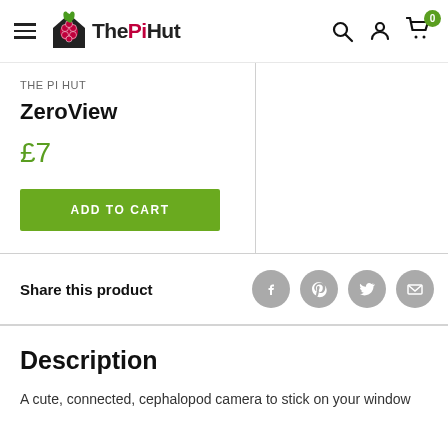The Pi Hut — navigation header with logo, search, account, and cart icons
THE PI HUT
ZeroView
£7
ADD TO CART
Share this product
Description
A cute, connected, cephalopod camera to stick on your window